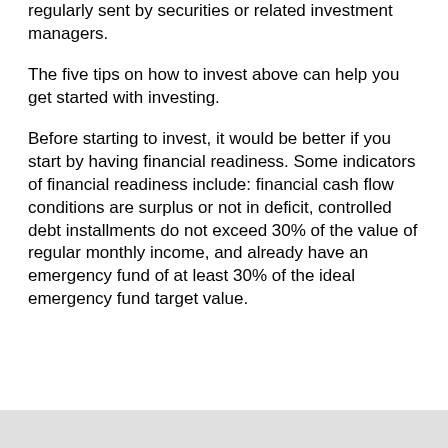regularly sent by securities or related investment managers.
The five tips on how to invest above can help you get started with investing.
Before starting to invest, it would be better if you start by having financial readiness. Some indicators of financial readiness include: financial cash flow conditions are surplus or not in deficit, controlled debt installments do not exceed 30% of the value of regular monthly income, and already have an emergency fund of at least 30% of the ideal emergency fund target value.